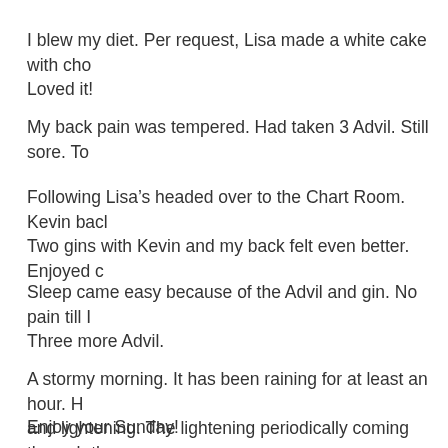I blew my diet. Per request, Lisa made a white cake with cho Loved it!
My back pain was tempered. Had taken 3 Advil. Still sore. To
Following Lisa’s headed over to the Chart Room. Kevin bacl Two gins with Kevin and my back felt even better. Enjoyed c
Sleep came easy because of the Advil and gin. No pain till I Three more Advil.
A stormy morning. It has been raining for at least an hour. H and lightening. The lightening periodically coming through th
Enjoy your Sunday!